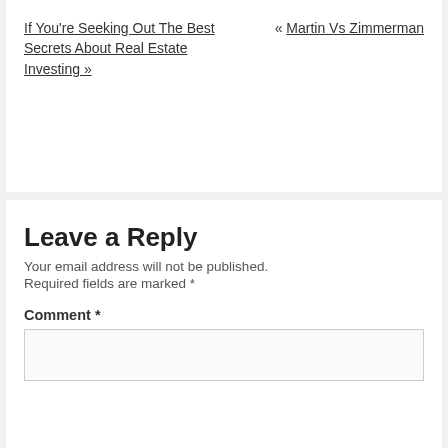If You're Seeking Out The Best Secrets About Real Estate Investing »
« Martin Vs Zimmerman
Leave a Reply
Your email address will not be published.
Required fields are marked *
Comment *